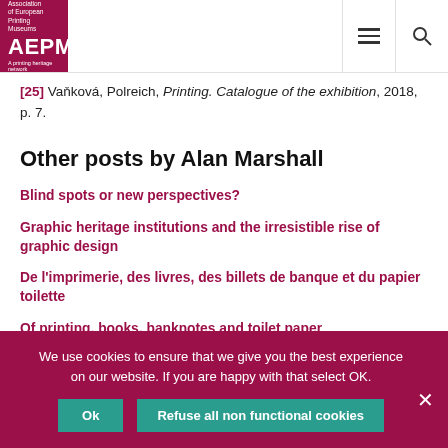Association of European Printing Museums AEPM A printing heritage network
[25] Vaňková, Polreich, Printing. Catalogue of the exhibition, 2018, p. 7.
Other posts by Alan Marshall
Blind spots or new perspectives?
Graphic heritage institutions and the irresistible rise of graphic design
De l'imprimerie, des livres, des billets de banque et du papier toilette
Of printing, books, banknotes and toilet paper
Zwischen Theorie und Praxis: Buchdruck und Digitaldruck in
We use cookies to ensure that we give you the best experience on our website. If you are happy with that select OK.